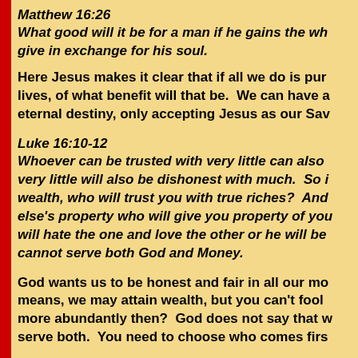Matthew 16:26
What good will it be for a man if he gains the wh... give in exchange for his soul.
Here Jesus makes it clear that if all we do is pur... lives, of what benefit will that be.  We can have a... eternal destiny, only accepting Jesus as our Sav...
Luke 16:10-12
Whoever can be trusted with very little can also ... very little will also be dishonest with much.  So i... wealth, who will trust you with true riches?  And ... else's property who will give you property of you... will hate the one and love the other or he will be ... cannot serve both God and Money.
God wants us to be honest and fair in all our mo... means, we may attain wealth, but you can't fool ... more abundantly then?  God does not say that w... serve both.  You need to choose who comes firs...